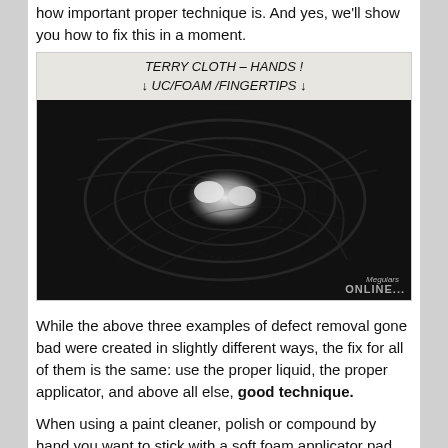how important proper technique is. And yes, we'll show you how to fix this in a moment.
[Figure (photo): Photograph showing circular swirl marks on dark paint surface under light, with handwritten labels at top reading 'TERRY CLOTH - HANDS!' and '↓UC/FOAM/FINGERTIPS↓'. Watermark reads 'Meguiars ONLINE...']
While the above three examples of defect removal gone bad were created in slightly different ways, the fix for all of them is the same: use the proper liquid, the proper applicator, and above all else, good technique.
When using a paint cleaner, polish or compound by hand you want to stick with a soft foam applicator pad rather than terry cloth or even a microfiber towel. Even then, good technique is critical to achieving a good result. The image below shows how NOT to handle the applicator with these products, and to clear up any